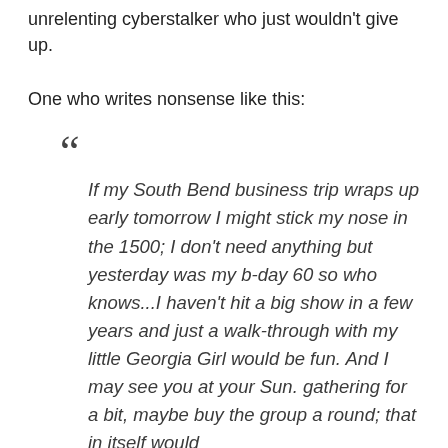unrelenting cyberstalker who just wouldn't give up.
One who writes nonsense like this:
If my South Bend business trip wraps up early tomorrow I might stick my nose in the 1500; I don't need anything but yesterday was my b-day 60 so who knows...I haven't hit a big show in a few years and just a walk-through with my little Georgia Girl would be fun. And I may see you at your Sun. gathering for a bit, maybe buy the group a round; that in itself would